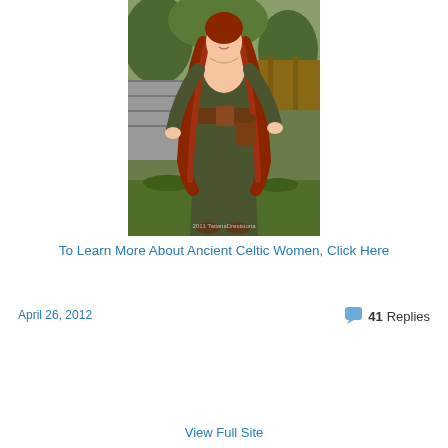[Figure (photo): A woman with long red hair wearing a dark olive green medieval/Celtic style dress with a brown leather belt and pouch, standing outdoors in a wooded setting. Watermark reads '2011 TatianaDrestsiona'.]
To Learn More About Ancient Celtic Women, Click Here
April 26, 2012
41 Replies
View Full Site